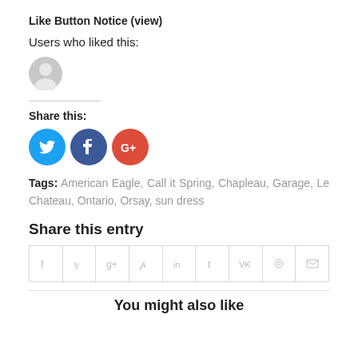Like Button Notice (view)
Users who liked this:
[Figure (illustration): Grey avatar/profile placeholder icon]
Share this:
[Figure (illustration): Three social sharing buttons: Twitter (blue circle with bird), Facebook (dark blue circle with f), Google+ (red circle with G+)]
Tags: American Eagle, Call it Spring, Chapleau, Garage, Le Chateau, Ontario, Orsay, sun dress
Share this entry
[Figure (other): Social sharing grid with 9 icons: Facebook, Twitter, Google+, Pinterest, LinkedIn, Tumblr, VK, Reddit, Email]
You might also like